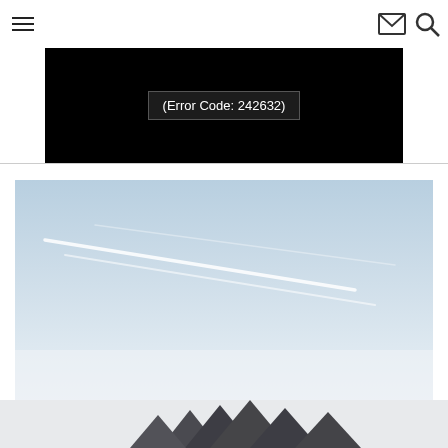Navigation header with hamburger menu, mail icon, and search icon
[Figure (screenshot): Video player showing error message: (Error Code: 242632) on black background]
[Figure (photo): Sky photograph showing light blue sky with white contrails/vapor trails from aircraft. Sky fades to lighter near bottom with some tree silhouettes visible at very bottom edge.]